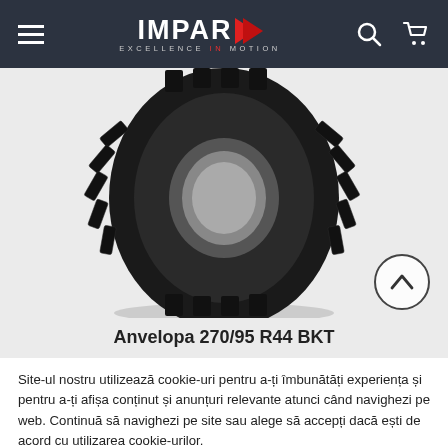IMPAR EXCELLENCE IN MOTION — navigation bar
[Figure (photo): A black agricultural/tractor tire (BKT brand) with deep tread pattern, shown against a light grey background. The tire is oriented vertically and slightly angled.]
Anvelopa 270/95 R44 BKT
Site-ul nostru utilizează cookie-uri pentru a-ți îmbunătăți experiența și pentru a-ți afișa conținut și anunțuri relevante atunci când navighezi pe web. Continuă să navighezi pe site sau alege să accepți dacă ești de acord cu utilizarea cookie-urilor.
Informatii   Accept